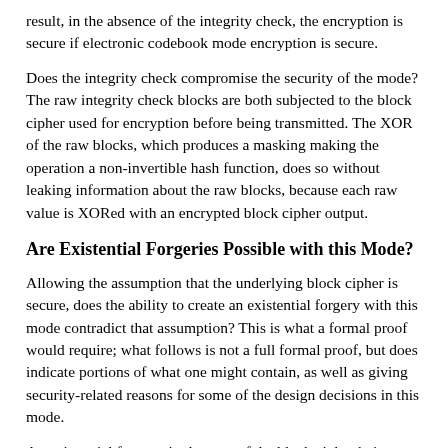result, in the absence of the integrity check, the encryption is secure if electronic codebook mode encryption is secure.
Does the integrity check compromise the security of the mode? The raw integrity check blocks are both subjected to the block cipher used for encryption before being transmitted. The XOR of the raw blocks, which produces a masking making the operation a non-invertible hash function, does so without leaking information about the raw blocks, because each raw value is XORed with an encrypted block cipher output.
Are Existential Forgeries Possible with this Mode?
Allowing the assumption that the underlying block cipher is secure, does the ability to create an existential forgery with this mode contradict that assumption? This is what a formal proof would require; what follows is not a full formal proof, but does indicate portions of what one might contain, as well as giving security-related reasons for some of the design decisions in this mode.
An existential forgery, in the case of the block cipher being secure, would need to involve no novel AES encryptions. Each AES encryption would have to have been one encountered in a preceding actual message. This is true despite the fact that in an